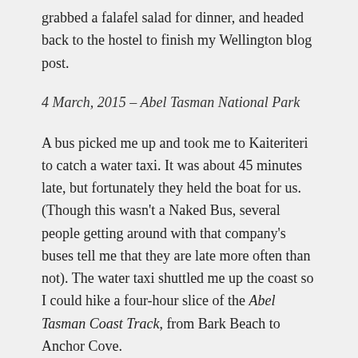grabbed a falafel salad for dinner, and headed back to the hostel to finish my Wellington blog post.
4 March, 2015 – Abel Tasman National Park
A bus picked me up and took me to Kaiteriteri to catch a water taxi. It was about 45 minutes late, but fortunately they held the boat for us. (Though this wasn't a Naked Bus, several people getting around with that company's buses tell me that they are late more often than not). The water taxi shuttled me up the coast so I could hike a four-hour slice of the Abel Tasman Coast Track, from Bark Beach to Anchor Cove.
Much of the track is cut into the hillside right through the forest above the coast. The 11 km (almost 7 miles) section that I did was relatively easy with rolling ups and downs. There were often ocean vistas through the trees. I heard some beautiful calls from songbirds along the way as well.